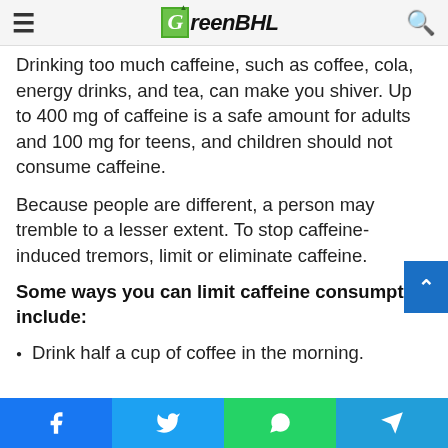GreenBHL
Drinking too much caffeine, such as coffee, cola, energy drinks, and tea, can make you shiver. Up to 400 mg of caffeine is a safe amount for adults and 100 mg for teens, and children should not consume caffeine.
Because people are different, a person may tremble to a lesser extent. To stop caffeine-induced tremors, limit or eliminate caffeine.
Some ways you can limit caffeine consumption include:
Drink half a cup of coffee in the morning.
Facebook | Twitter | WhatsApp | Telegram